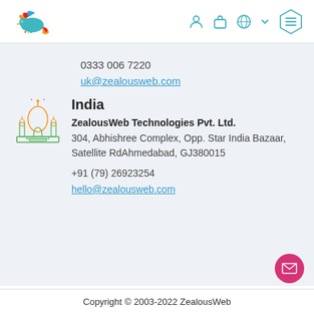[Figure (logo): ZealousWeb colorful bird/dove logo on the left; navigation icons (person, bag, globe, chevron, menu hexagon) on the right]
0333 006 7220
uk@zealousweb.com
[Figure (illustration): Taj Mahal illustration icon in orange and green]
India
ZealousWeb Technologies Pvt. Ltd.
304, Abhishree Complex, Opp. Star India Bazaar, Satellite RdAhmedabad, GJ380015
+91 (79) 26923254
hello@zealousweb.com
Copyright © 2003-2022 ZealousWeb